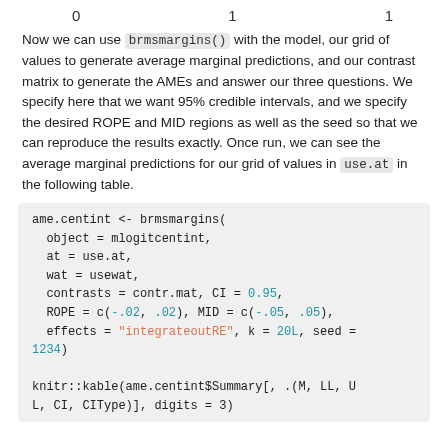0    1    1
Now we can use brmsmargins() with the model, our grid of values to generate average marginal predictions, and our contrast matrix to generate the AMEs and answer our three questions. We specify here that we want 95% credible intervals, and we specify the desired ROPE and MID regions as well as the seed so that we can reproduce the results exactly. Once run, we can see the average marginal predictions for our grid of values in use.at in the following table.
ame.centint <- brmsmargins(
  object = mlogitcentint,
  at = use.at,
  wat = usewat,
  contrasts = contr.mat, CI = 0.95,
  ROPE = c(-.02, .02), MID = c(-.05, .05),
  effects = "integrateoutRE", k = 20L, seed =
1234)

knitr::kable(ame.centint$Summary[, .(M, LL, U
L, CI, CIType)], digits = 3)